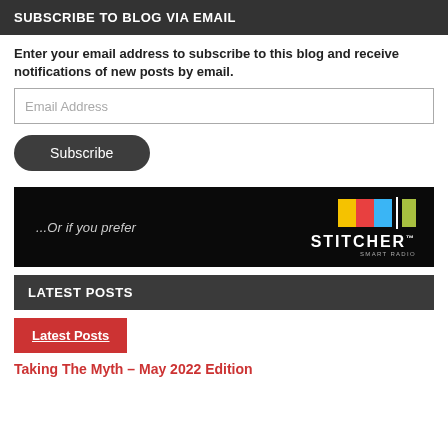SUBSCRIBE TO BLOG VIA EMAIL
Enter your email address to subscribe to this blog and receive notifications of new posts by email.
Email Address
Subscribe
[Figure (logo): Stitcher Smart Radio banner with colored blocks logo and text '...Or if you prefer STITCHER SMART RADIO' on dark background]
LATEST POSTS
Latest Posts
Taking The Myth – May 2022 Edition